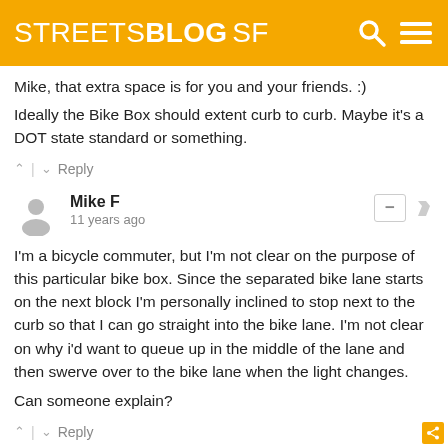STREETSBLOG SF
Mike, that extra space is for you and your friends. :)
Ideally the Bike Box should extent curb to curb. Maybe it's a DOT state standard or something.
^ | v  Reply
Mike F
11 years ago
I'm a bicycle commuter, but I'm not clear on the purpose of this particular bike box. Since the separated bike lane starts on the next block I'm personally inclined to stop next to the curb so that I can go straight into the bike lane. I'm not clear on why i'd want to queue up in the middle of the lane and then swerve over to the bike lane when the light changes.

Can someone explain?
^ | v  Reply
Lee Trampleasure
11 years ago